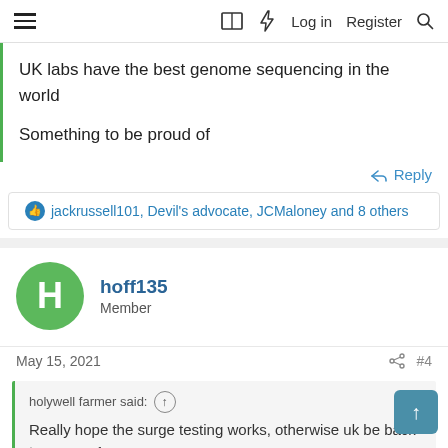≡  □  ⚡  Log in  Register  🔍
UK labs have the best genome sequencing in the world

Something to be proud of
Reply
jackrussell101, Devil's advocate, JCMaloney and 8 others
hoff135
Member
May 15, 2021  #4
holywell farmer said: ↑

Really hope the surge testing works, otherwise uk be back to square 1